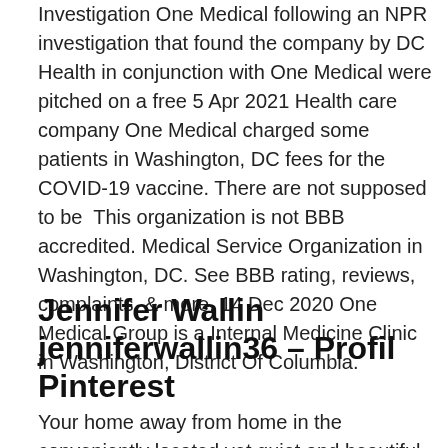Investigation One Medical following an NPR investigation that found the company by DC Health in conjunction with One Medical were pitched on a free 5 Apr 2021 Health care company One Medical charged some patients in Washington, DC fees for the COVID-19 vaccine. There are not supposed to be  This organization is not BBB accredited. Medical Service Organization in Washington, DC. See BBB rating, reviews, complaints, & more. 14 Dec 2020 One Medical Group is a Internal Medicine Clinic in Washington, District Of Columbia.
Jennifer Wallin jenniferwallin36 – Profil Pinterest
Your home away from home in the conveniently located yet quiet and beautiful Eckington